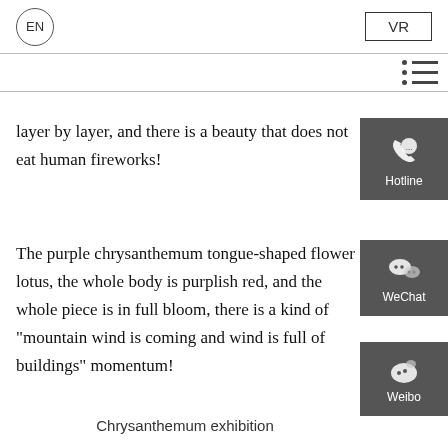EN | VR
layer by layer, and there is a beauty that does not eat human fireworks!
The purple chrysanthemum tongue-shaped flower lotus, the whole body is purplish red, and the whole piece is in full bloom, there is a kind of "mountain wind is coming and wind is full of buildings" momentum!
Chrysanthemum exhibition